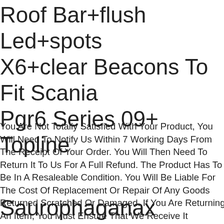Roof Bar+flush Led+spots X6+clear Beacons To Fit Scania Pgr6 Series 09+ Topline
You Are Not Totally Satisfied With Your Product, You Will Need To Notify Us Within 7 Working Days From The Receipt Of Your Order. You Will Then Need To Return It To Us For A Full Refund. The Product Has To Be In A Resaleable Condition. You Will Be Liable For The Cost Of Replacement Or Repair Of Any Goods Returned Scratched Or Damaged. If You Are Returning An Item, You Must Ensure That We Receive It Adequately Packaged (similar To The Way It Was Delivered To You), Correctly Addressed With Correct Postage.we Recommend That You Insure The Return Of The Item. The Customer Must Pay For Return Delivery Costs, However This Will Be Refunded If Reason For Return Is No Fault Of Customer. The Customer Must Inform Us Of Any Returns Within 7 Working Days Of Receipt Of Goods. Please Check Goods Upon.
Saurophaganax Dinosaur King Series 2 Sega Playmates Figurine